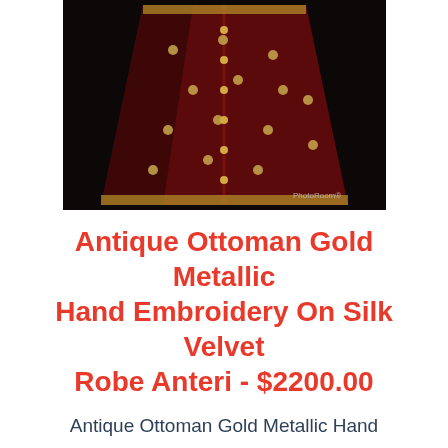[Figure (photo): Photo of an antique Ottoman silk velvet robe (Anteri) with gold metallic hand embroidery on dark red/maroon velvet fabric, displayed against a black background. PhotoRoom watermark visible.]
Antique Ottoman Gold Metallic Hand Embroidery On Silk Velvet Robe Anteri - $2200.00
Antique Ottoman Gold Metallic Hand Embroidery On Silk Velvet Robe Anteri

Rare Fabric Colour!